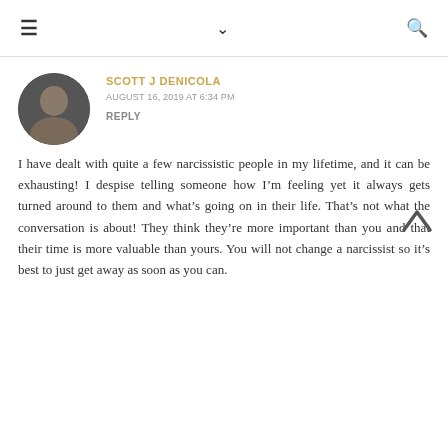≡  ∨  🔍
SCOTT J DENICOLA
AUGUST 16, 2019 AT 6:34 PM
REPLY
I have dealt with quite a few narcissistic people in my lifetime, and it can be exhausting! I despise telling someone how I'm feeling yet it always gets turned around to them and what's going on in their life. That's not what the conversation is about! They think they're more important than you and that their time is more valuable than yours. You will not change a narcissist so it's best to just get away as soon as you can.